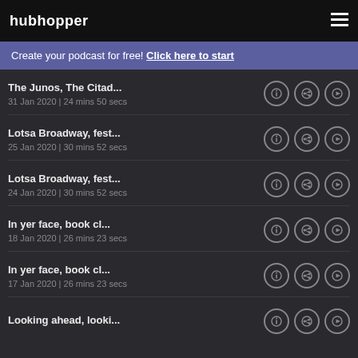hubhopper
Create your podcast for free! Click here to start
The Junos, The Citad... | 31 Jan 2020 | 24 mins 50 secs
Lotsa Broadway, fest... | 25 Jan 2020 | 30 mins 52 secs
Lotsa Broadway, fest... | 24 Jan 2020 | 30 mins 52 secs
In yer face, book cl... | 18 Jan 2020 | 26 mins 23 secs
In yer face, book cl... | 17 Jan 2020 | 26 mins 23 secs
Looking ahead, looki...